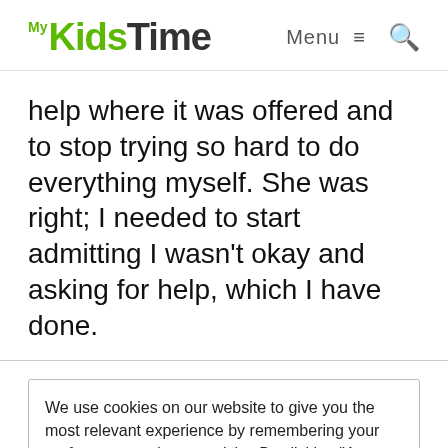MyKidsTime | Menu ☰ 🔍
help where it was offered and to stop trying so hard to do everything myself. She was right; I needed to start admitting I wasn't okay and asking for help, which I have done.
We use cookies on our website to give you the most relevant experience by remembering your preferences and repeat visits. By clicking "Accept Cookies", you consent to the use of ALL the cookies. However you may visit Cookie Settings to provide a controlled consent.
Cookie settings | ACCEPT COOKIES